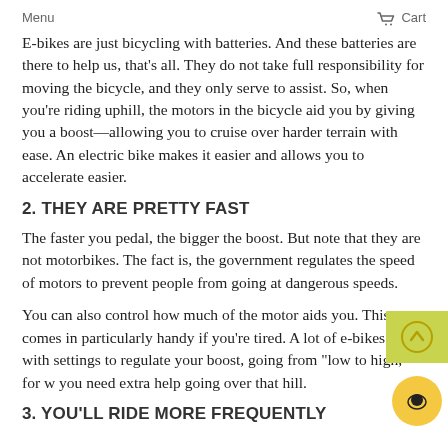Menu    Cart
E-bikes are just bicycling with batteries. And these batteries are there to help us, that's all. They do not take full responsibility for moving the bicycle, and they only serve to assist. So, when you're riding uphill, the motors in the bicycle aid you by giving you a boost—allowing you to cruise over harder terrain with ease. An electric bike makes it easier and allows you to accelerate easier.
2. THEY ARE PRETTY FAST
The faster you pedal, the bigger the boost. But note that they are not motorbikes. The fact is, the government regulates the speed of motors to prevent people from going at dangerous speeds.
You can also control how much of the motor aids you. This comes in particularly handy if you're tired. A lot of e-bikes come with settings to regulate your boost, going from "low to high," for when you need extra help going over that hill.
3. YOU'LL RIDE MORE FREQUENTLY